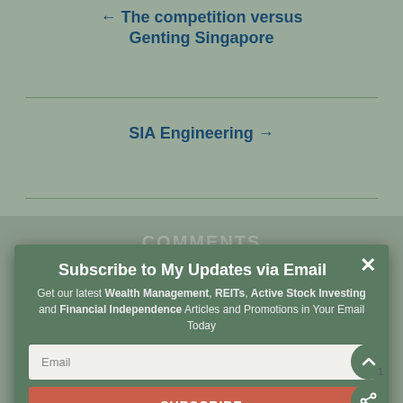← The competition versus Genting Singapore
SIA Engineering →
COMMENTS
Subscribe to My Updates via Email
Get our latest Wealth Management, REITs, Active Stock Investing and Financial Independence Articles and Promotions in Your Email Today
Email
SUBSCRIBE